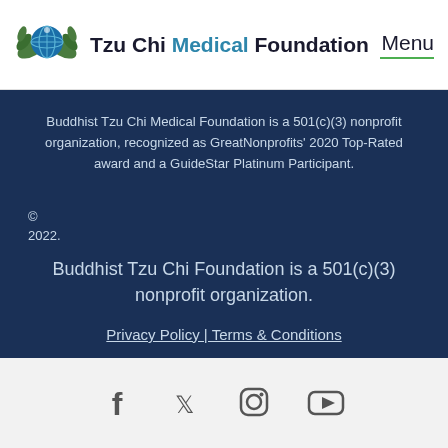Tzu Chi Medical Foundation | Menu
Buddhist Tzu Chi Medical Foundation is a 501(c)(3) nonprofit organization, recognized as GreatNonprofits' 2020 Top-Rated award and a GuideStar Platinum Participant.
© 2022.
Buddhist Tzu Chi Foundation is a 501(c)(3) nonprofit organization.
Privacy Policy | Terms & Conditions
[Figure (illustration): Social media icons: Facebook, Twitter, Instagram, YouTube]